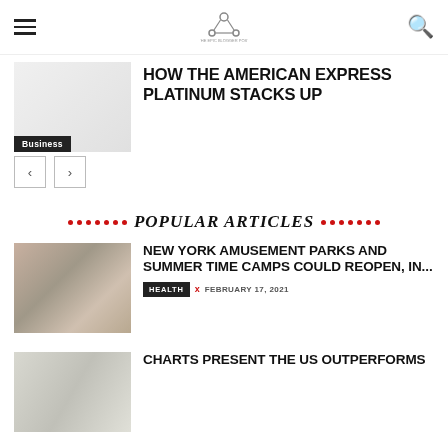Navigation bar with hamburger menu, logo, and search icon
HOW THE AMERICAN EXPRESS PLATINUM STACKS UP
Business
[Figure (illustration): Article thumbnail image with Business label]
POPULAR ARTICLES
NEW YORK AMUSEMENT PARKS AND SUMMER TIME CAMPS COULD REOPEN, IN...
HEALTH  x  FEBRUARY 17, 2021
CHARTS PRESENT THE US OUTPERFORMS